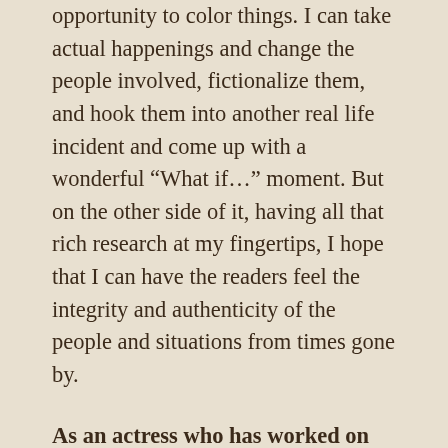opportunity to color things. I can take actual happenings and change the people involved, fictionalize them, and hook them into another real life incident and come up with a wonderful “What if…” moment. But on the other side of it, having all that rich research at my fingertips, I hope that I can have the readers feel the integrity and authenticity of the people and situations from times gone by.
As an actress who has worked on well-loved shows such as “Monty Python’s Flying Circus” and “Dr. Who” and who has acted with greats like Sir Anthony Hopkins, tell us how acting informs your writing? Does it help? Or is it a hinderence? Would you recommend that writers take acting instruction?